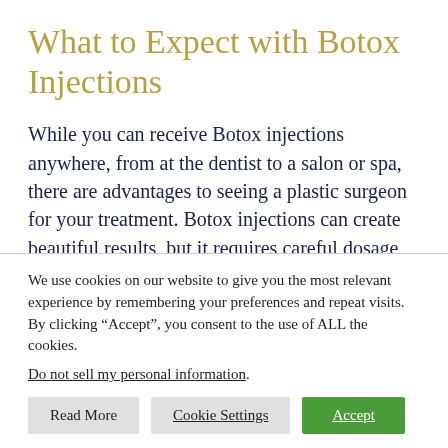What to Expect with Botox Injections
While you can receive Botox injections anywhere, from at the dentist to a salon or spa, there are advantages to seeing a plastic surgeon for your treatment. Botox injections can create beautiful results, but it requires careful dosage and placement to avoid unnecessary negative side effects. Dr.
We use cookies on our website to give you the most relevant experience by remembering your preferences and repeat visits. By clicking “Accept”, you consent to the use of ALL the cookies.
Do not sell my personal information.